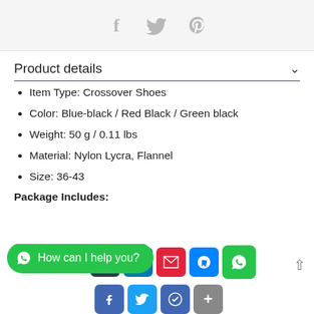[Figure (other): Social media share icons: Facebook, Twitter, Pinterest in gray on light gray bar]
Product details
Item Type: Crossover Shoes
Color: Blue-black / Red Black / Green black
Weight: 50 g / 0.11 lbs
Material: Nylon Lycra, Flannel
Size: 36-43
Package Includes:
[Figure (other): WhatsApp chat bubble: 'How can I help you?' and social share icon buttons row at bottom]